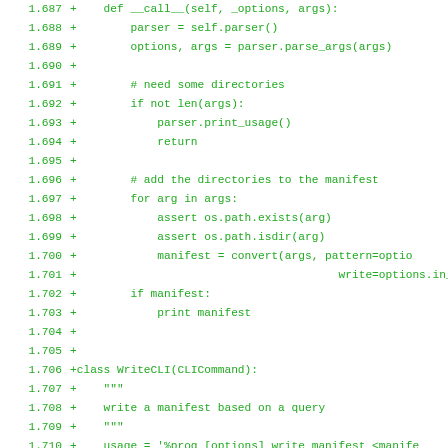[Figure (screenshot): Code diff screenshot showing Python source lines 1.687–1.719, green text on white background, monospace font. Lines show methods __call__, WriteCLI class definition, and related code with '+' diff markers.]